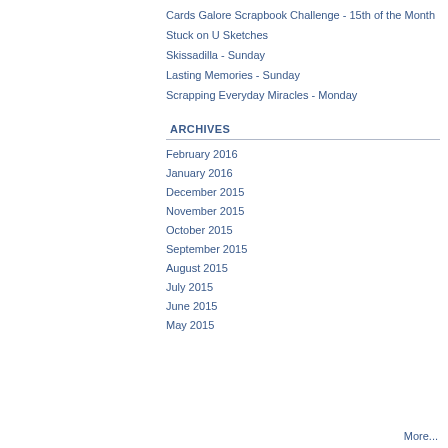Cards Galore Scrapbook Challenge - 15th of the Month
Stuck on U Sketches
Skissadilla - Sunday
Lasting Memories - Sunday
Scrapping Everyday Miracles - Monday
ARCHIVES
February 2016
January 2016
December 2015
November 2015
October 2015
September 2015
August 2015
July 2015
June 2015
May 2015
More...